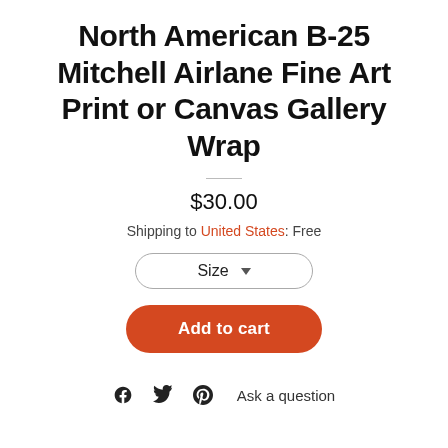North American B-25 Mitchell Airlane Fine Art Print or Canvas Gallery Wrap
$30.00
Shipping to United States: Free
Size ▾
Add to cart
Ask a question